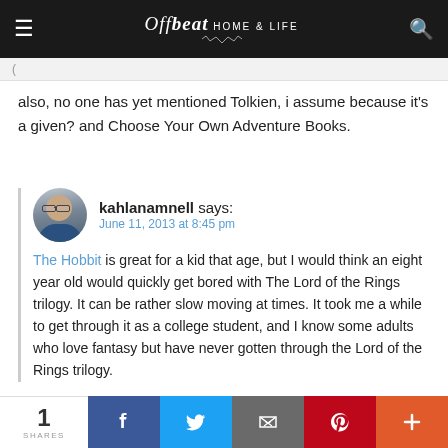Offbeat HOME & LIFE
also, no one has yet mentioned Tolkien, i assume because it's a given? and Choose Your Own Adventure Books.
kahlanamnell says:
June 11, 2013 at 8:45 pm
The Hobbit is great for a kid that age, but I would think an eight year old would quickly get bored with The Lord of the Rings trilogy. It can be rather slow moving at times. It took me a while to get through it as a college student, and I know some adults who love fantasy but have never gotten through the Lord of the Rings trilogy.
1 SHARES | Facebook | Twitter | Email | Pinterest | More